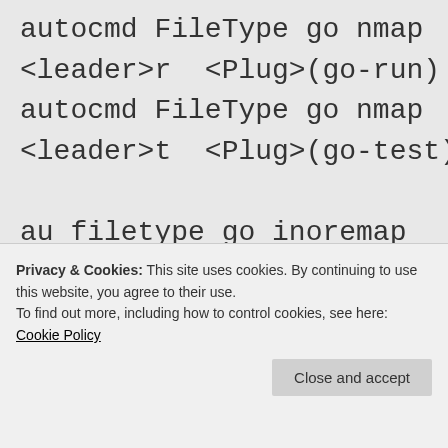autocmd FileType go nmap
<leader>r  <Plug>(go-run)
autocmd FileType go nmap
<leader>t  <Plug>(go-test)

au filetype go inoremap
<buffer> . .<C-x><C-o>

" NERDTree setup
map <C-z> :NERDTreeToggle<CR> "

g:NERDTreeDirArrowExpandable =
Privacy & Cookies: This site uses cookies. By continuing to use this website, you agree to their use.
To find out more, including how to control cookies, see here: Cookie Policy
Close and accept